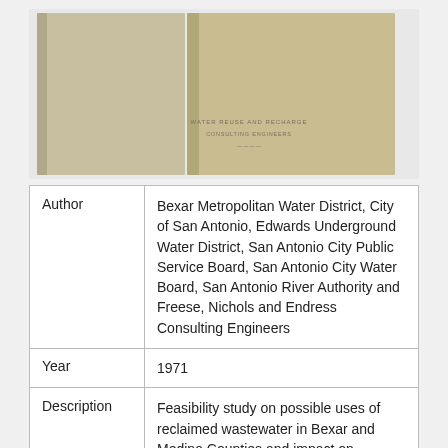[Figure (photo): Two old book/report covers side by side, tan/olive colored, partial text visible on right cover reading something like 'WATER REUSE AND RECHARGE / CONSULTING ENGINEERS / ...']
| Author | Bexar Metropolitan Water District, City of San Antonio, Edwards Underground Water District, San Antonio City Public Service Board, San Antonio City Water Board, San Antonio River Authority and Freese, Nichols and Endress Consulting Engineers |
| Year | 1971 |
| Description | Feasibility study on possible uses of reclaimed wastewater in Bexar and Medina Counties and impact on withdrawal from and recharge to the Edwards Aquifer Note: This report is included for its historical value and may have been superseded by more |